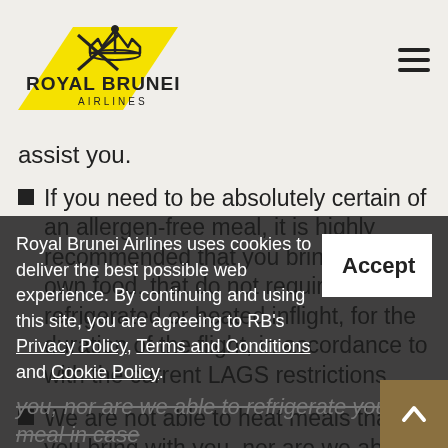Royal Brunei Airlines
assist you.
If you need to be absolutely certain of an allergen-free meal, it is highly recommended that you bring your own food, that do not require to be refrigerated or heated inflight, for the duration of the flight, in accordance to with the current LAGS restrictions.
We are not able to heat meals that you bring with you, nor are we able to refrigerate your meal in case the containers become contaminated with other food in the aircraft refrigerator or microwave. We are recommended the necessary steps to minimize their potential
Royal Brunei Airlines uses cookies to deliver the best possible web experience. By continuing and using this site, you are agreeing to RB's Privacy Policy, Terms and Conditions and Cookie Policy.